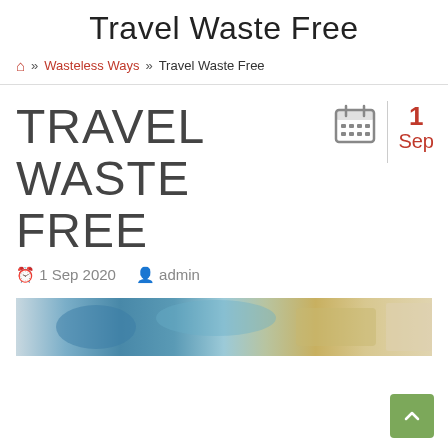Travel Waste Free
🏠 » Wasteless Ways » Travel Waste Free
TRAVEL WASTE FREE
1 Sep
1 Sep 2020   admin
[Figure (photo): Partially visible travel-related photograph showing items such as currency, passport, and travel accessories]